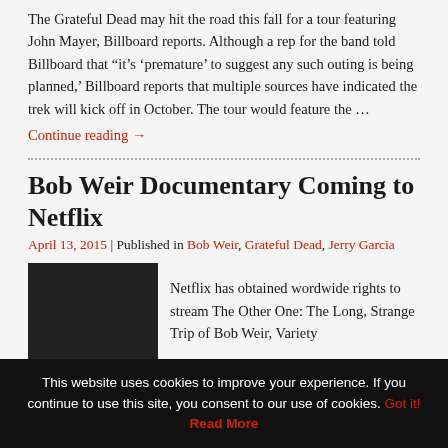The Grateful Dead may hit the road this fall for a tour featuring John Mayer, Billboard reports. Although a rep for the band told Billboard that “it’s ‘premature’ to suggest any such outing is being planned,’ Billboard reports that multiple sources have indicated the trek will kick off in October. The tour would feature the …
Continue reading →
Bob Weir Documentary Coming to Netflix
April 13, 2015 | Published in Bob Weir, Grateful Dead, Jerry Garcia
[Figure (photo): Dark/black image placeholder for article thumbnail]
Netflix has obtained wordwide rights to stream The Other One: The Long, Strange Trip of Bob Weir, Variety
This website uses cookies to improve your experience. If you continue to use this site, you consent to our use of cookies. Got it! Read More